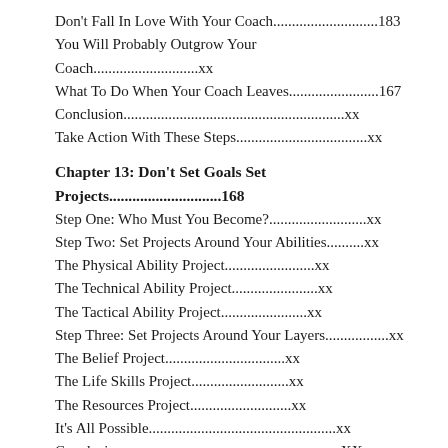Don't Fall In Love With Your Coach............................183
You Will Probably Outgrow Your Coach............................xx
What To Do When Your Coach Leaves........................167
Conclusion...........................................................xx
Take Action With These Steps...................................xx
Chapter 13: Don't Set Goals Set Projects.............................168
Step One: Who Must You Become?..........................xx
Step Two: Set Projects Around Your Abilities..........xx
The Physical Ability Project........................xx
The Technical Ability Project.......................xx
The Tactical Ability Project.......................xx
Step Three: Set Projects Around Your Layers.................xx
The Belief Project................................xx
The Life Skills Project..........................xx
The Resources Project...........................xx
It's All Possible..................................................xx
Conclusion..........................................................XX